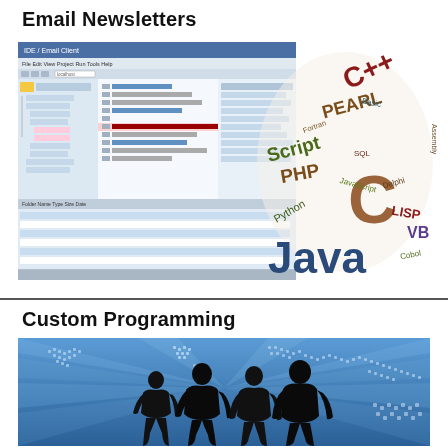Email Newsletters
[Figure (screenshot): Email client / IDE software screenshot showing code editor and file browser]
[Figure (illustration): Word cloud of programming languages: C++, Java, PHP, Perl, Python, ALGOL, C, VB, LISP, Script, Assembly, Pascal, JavaScript, and others]
Custom Programming
[Figure (illustration): Four business people silhouettes standing in front of a world map with blue rays and dotted continents]